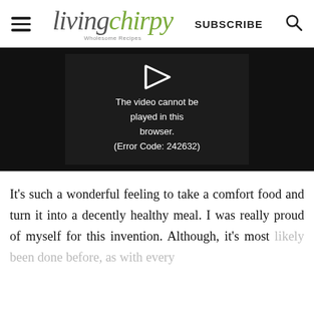living chirpy — Wholesome Recipes | SUBSCRIBE
[Figure (screenshot): Video player showing error message: 'The video cannot be played in this browser. (Error Code: 242632)' on a dark background with a play button arrow icon.]
It's such a wonderful feeling to take a comfort food and turn it into a decently healthy meal. I was really proud of myself for this invention. Although, it's most likely been done before, as with every